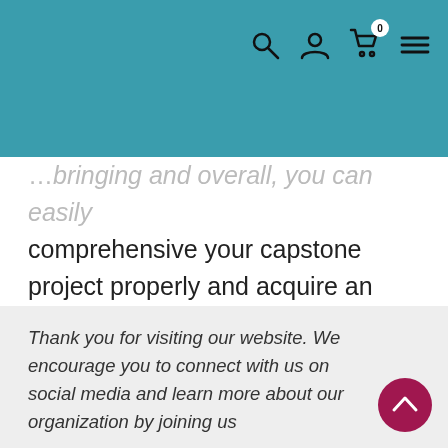Navigation header with search, user, cart (0), and menu icons
…bringing and overall, you can easily comprehensive your capstone project properly and acquire an A.
[Figure (other): Share button - dark red circular button with share icon]
Thank you for visiting our website. We encourage you to connect with us on social media and learn more about our organization by joining us
[Figure (other): Scroll-to-top button - dark red circular button with upward chevron icon]